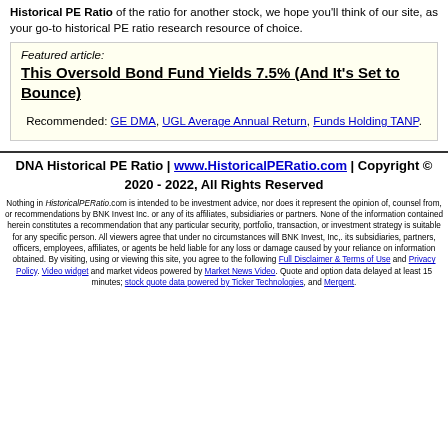Historical PE Ratio of the ratio for another stock, we hope you'll think of our site, as your go-to historical PE ratio research resource of choice.
Featured article: This Oversold Bond Fund Yields 7.5% (And It's Set to Bounce)
Recommended: GE DMA, UGL Average Annual Return, Funds Holding TANP.
DNA Historical PE Ratio | www.HistoricalPERatio.com | Copyright © 2020 - 2022, All Rights Reserved
Nothing in HistoricalPERatio.com is intended to be investment advice, nor does it represent the opinion of, counsel from, or recommendations by BNK Invest Inc. or any of its affiliates, subsidiaries or partners. None of the information contained herein constitutes a recommendation that any particular security, portfolio, transaction, or investment strategy is suitable for any specific person. All viewers agree that under no circumstances will BNK Invest, Inc,. its subsidiaries, partners, officers, employees, affiliates, or agents be held liable for any loss or damage caused by your reliance on information obtained. By visiting, using or viewing this site, you agree to the following Full Disclaimer & Terms of Use and Privacy Policy. Video widget and market videos powered by Market News Video. Quote and option data delayed at least 15 minutes; stock quote data powered by Ticker Technologies, and Mergent.